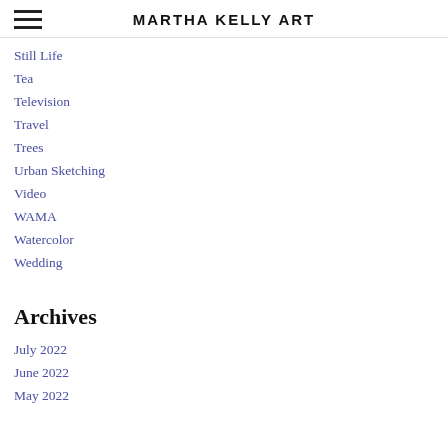MARTHA KELLY ART
Still Life
Tea
Television
Travel
Trees
Urban Sketching
Video
WAMA
Watercolor
Wedding
Archives
July 2022
June 2022
May 2022